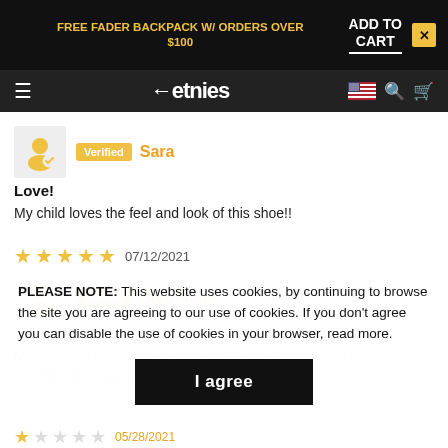FREE FADER BACKPACK W/ ORDERS OVER $100 | ADD TO CART X
[Figure (screenshot): Etnies logo navigation bar with hamburger menu, US flag icon, search icon, and cart icon on dark background]
[Figure (illustration): User avatar icon with verified checkmark for reviewer Sara]
Verified Sara
Love!
My child loves the feel and look of this shoe!!
07/12/2021 (5 stars)
[Figure (illustration): User avatar icon with verified checkmark for reviewer Stephanie]
Verified Stephanie
Great shoes!
My son loves these shoes so much! They are durable and so comfortable. They look so great too!
PLEASE NOTE: This website uses cookies, by continuing to browse the site you are agreeing to our use of cookies. If you don't agree you can disable the use of cookies in your browser, read more.
I agree
05/28/2021 (1 star)